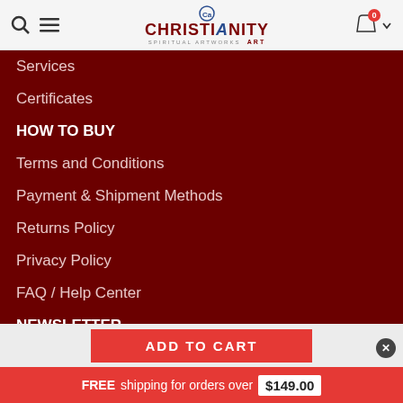[Figure (logo): Christianity Art logo with CA badge, shopping bag icon with 0 badge, search and menu icons]
Services
Certificates
HOW TO BUY
Terms and Conditions
Payment & Shipment Methods
Returns Policy
Privacy Policy
FAQ / Help Center
NEWSLETTER
ADD TO CART
FREE shipping for orders over $149.00